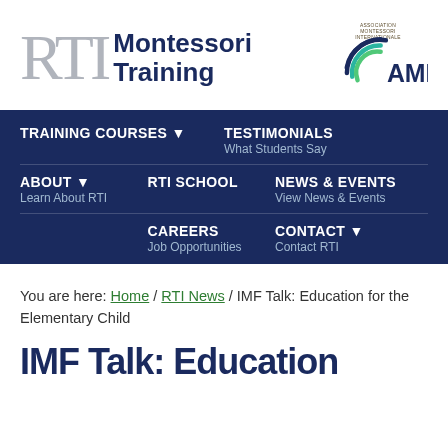[Figure (logo): RTI Montessori Training logo with large grey RTI letters and bold dark blue 'Montessori Training' text, alongside AMI (Association Montessori Internationale) circular logo]
TRAINING COURSES ▼
TESTIMONIALS
What Students Say
ABOUT ▼
RTI SCHOOL
NEWS & EVENTS
Learn About RTI
View News & Events
CAREERS
CONTACT ▼
Job Opportunities
Contact RTI
You are here: Home / RTI News / IMF Talk: Education for the Elementary Child
IMF Talk: Education...